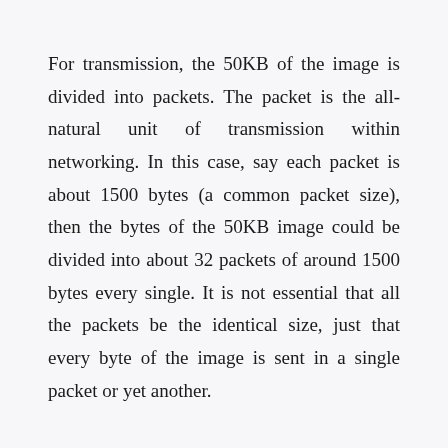For transmission, the 50KB of the image is divided into packets. The packet is the all-natural unit of transmission within networking. In this case, say each packet is about 1500 bytes (a common packet size), then the bytes of the 50KB image could be divided into about 32 packets of around 1500 bytes every single. It is not essential that all the packets be the identical size, just that every byte of the image is sent in a single packet or yet another.